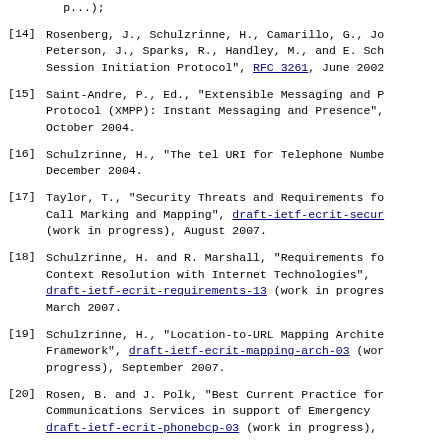(page continuation)
[14] Rosenberg, J., Schulzrinne, H., Camarillo, G., Jo Peterson, J., Sparks, R., Handley, M., and E. Sch Session Initiation Protocol", RFC 3261, June 2002
[15] Saint-Andre, P., Ed., "Extensible Messaging and P Protocol (XMPP): Instant Messaging and Presence", October 2004.
[16] Schulzrinne, H., "The tel URI for Telephone Numbe December 2004.
[17] Taylor, T., "Security Threats and Requirements fo Call Marking and Mapping", draft-ietf-ecrit-secur (work in progress), August 2007.
[18] Schulzrinne, H. and R. Marshall, "Requirements fo Context Resolution with Internet Technologies", draft-ietf-ecrit-requirements-13 (work in progres March 2007.
[19] Schulzrinne, H., "Location-to-URL Mapping Archite Framework", draft-ietf-ecrit-mapping-arch-03 (wor progress), September 2007.
[20] Rosen, B. and J. Polk, "Best Current Practice for Communications Services in support of Emergency draft-ietf-ecrit-phonebcp-03 (work in progress),